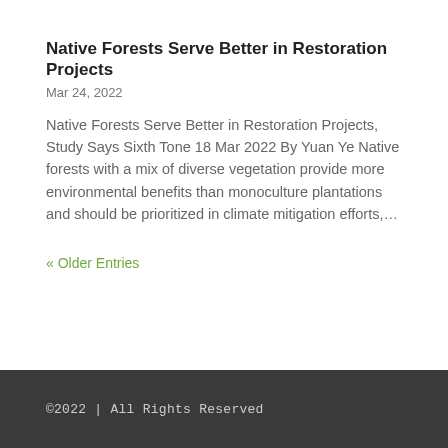Native Forests Serve Better in Restoration Projects
Mar 24, 2022
Native Forests Serve Better in Restoration Projects, Study Says Sixth Tone 18 Mar 2022 By Yuan Ye Native forests with a mix of diverse vegetation provide more environmental benefits than monoculture plantations and should be prioritized in climate mitigation efforts,...
« Older Entries
©2022 | All Rights Reserved